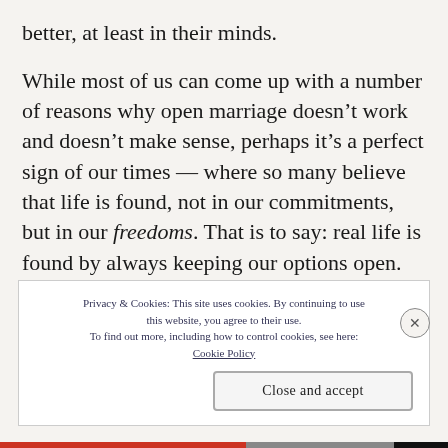better, at least in their minds.
While most of us can come up with a number of reasons why open marriage doesn’t work and doesn’t make sense, perhaps it’s a perfect sign of our times — where so many believe that life is found, not in our commitments, but in our freedoms. That is to say: real life is found by always keeping our options open.
Privacy & Cookies: This site uses cookies. By continuing to use this website, you agree to their use. To find out more, including how to control cookies, see here: Cookie Policy
Close and accept